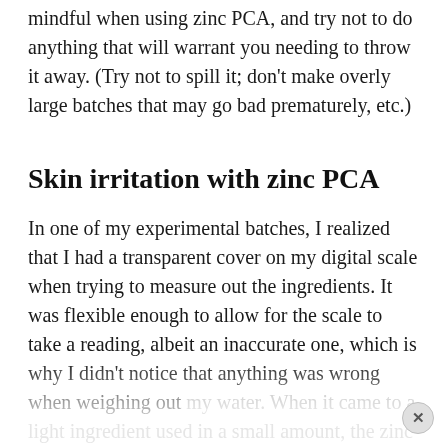mindful when using zinc PCA, and try not to do anything that will warrant you needing to throw it away. (Try not to spill it; don't make overly large batches that may go bad prematurely, etc.)
Skin irritation with zinc PCA
In one of my experimental batches, I realized that I had a transparent cover on my digital scale when trying to measure out the ingredients. It was flexible enough to allow for the scale to take a reading, albeit an inaccurate one, which is why I didn't notice that anything was wrong when weighing out my water. When it came to a light ingredient used in a small amount, the zinc PCA, I had